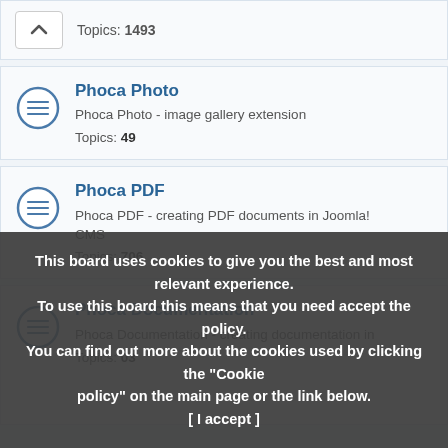Topics: 1493
Phoca Photo
Phoca Photo - image gallery extension
Topics: 49
Phoca PDF
Phoca PDF - creating PDF documents in Joomla! CMS
Topics: 706
Phoca Documentation
Phoca Documentation - creating documentation in
Topics: 03
This board uses cookies to give you the best and most relevant experience. To use this board this means that you need accept the policy. You can find out more about the cookies used by clicking the "Cookie policy" on the main page or the link below. [ I accept ]